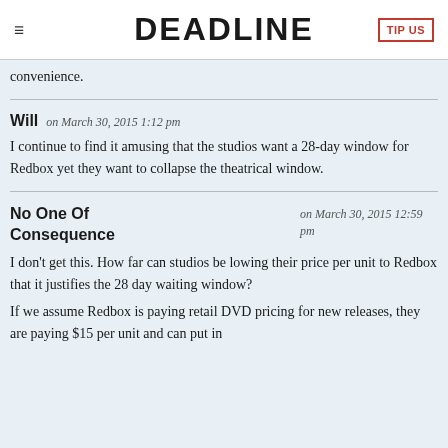DEADLINE
convenience.
Will on March 30, 2015 1:12 pm
I continue to find it amusing that the studios want a 28-day window for Redbox yet they want to collapse the theatrical window.
No One Of Consequence on March 30, 2015 12:59 pm
I don't get this. How far can studios be lowing their price per unit to Redbox that it justifies the 28 day waiting window?
If we assume Redbox is paying retail DVD pricing for new releases, they are paying $15 per unit and can put in